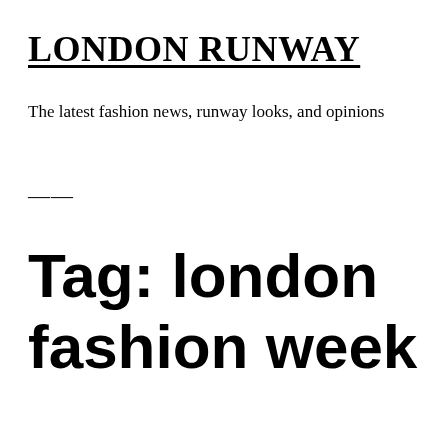LONDON RUNWAY
The latest fashion news, runway looks, and opinions
≡
Tag: london fashion week